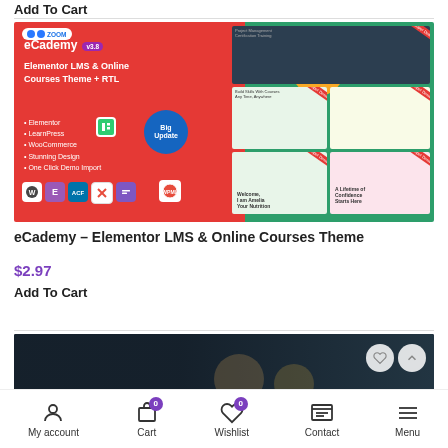Add To Cart
[Figure (screenshot): eCademy – Elementor LMS & Online Courses Theme product banner showing red and green promotional image with version v3.8, price $19, Big Update badge, feature list, icons and screenshots]
eCademy – Elementor LMS & Online Courses Theme
$2.97
Add To Cart
[Figure (screenshot): ROSA – dark themed restaurant/bar WordPress theme product banner with dark blue/navy background]
My account  Cart 0  Wishlist 0  Contact  Menu